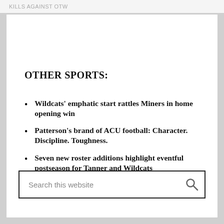KILLS AGAINST OTW
OTHER SPORTS:
Wildcats' emphatic start rattles Miners in home opening win
Patterson's brand of ACU football: Character. Discipline. Toughness.
Seven new roster additions highlight eventful postseason for Tanner and Wildcats
Search this website